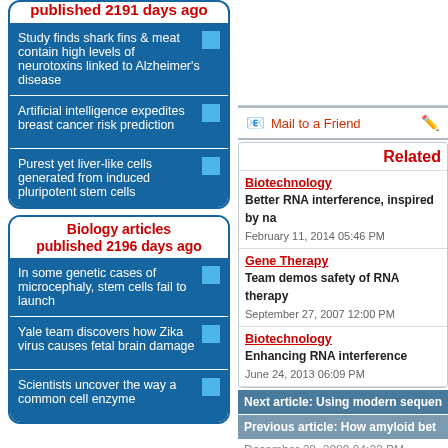published 2191 days ago
Study finds shark fins & meat contain high levels of neurotoxins linked to Alzheimer's disease
Artificial intelligence expedites breast cancer risk prediction
Purest yet liver-like cells generated from induced pluripotent stem cells
Biology articles published 2196 days ago
In some genetic cases of microcephaly, stem cells fail to launch
Yale team discovers how Zika virus causes fetal brain damage
Scientists uncover the way a common cell enzyme
Mail to a Friend
Related
Biotechnology
Better RNA interference, inspired by na
February 11, 2014 05:46 PM
Gene Therapy
Team demos safety of RNA therapy
September 27, 2007 12:00 PM
Biotechnology
Enhancing RNA interference
June 24, 2013 06:09 PM
Next article: Using modern sequen
Previous article: How amyloid bet
December 28, 2009 04:22 PM